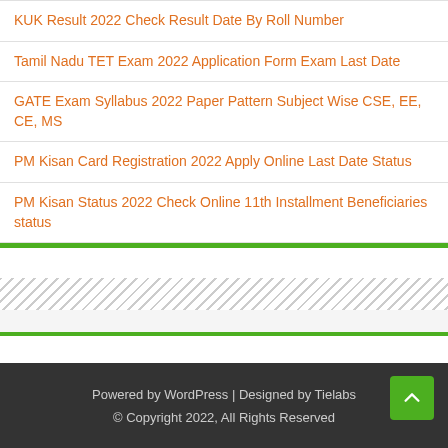KUK Result 2022 Check Result Date By Roll Number
Tamil Nadu TET Exam 2022 Application Form Exam Last Date
GATE Exam Syllabus 2022 Paper Pattern Subject Wise CSE, EE, CE, MS
PM Kisan Card Registration 2022 Apply Online Last Date Status
PM Kisan Status 2022 Check Online 11th Installment Beneficiaries status
Powered by WordPress | Designed by Tielabs
© Copyright 2022, All Rights Reserved